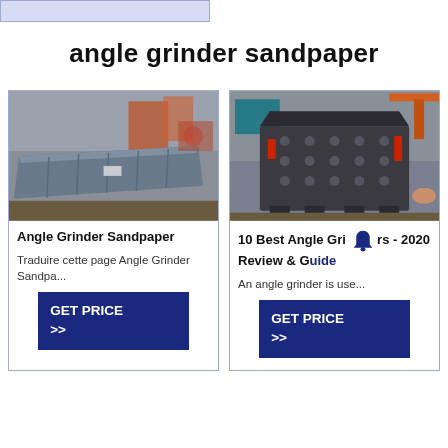angle grinder sandpaper
[Figure (photo): Industrial metal channel/trough in a factory setting]
Angle Grinder Sandpaper
Traduire cette page Angle Grinder Sandpa...
GET PRICE >>
[Figure (photo): Large industrial crushing machine (impact crusher) in a factory]
10 Best Angle Grinders - 2020 Review & Guide
An angle grinder is use...
GET PRICE >>